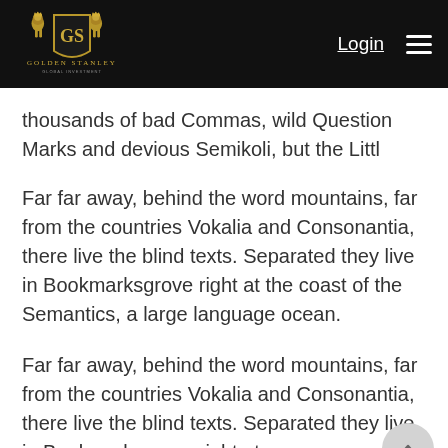Golden Stanley — Login
thousands of bad Commas, wild Question Marks and devious Semikoli, but the Littl
Far far away, behind the word mountains, far from the countries Vokalia and Consonantia, there live the blind texts. Separated they live in Bookmarksgrove right at the coast of the Semantics, a large language ocean.
Far far away, behind the word mountains, far from the countries Vokalia and Consonantia, there live the blind texts. Separated they live in Bookmarksgrove right at